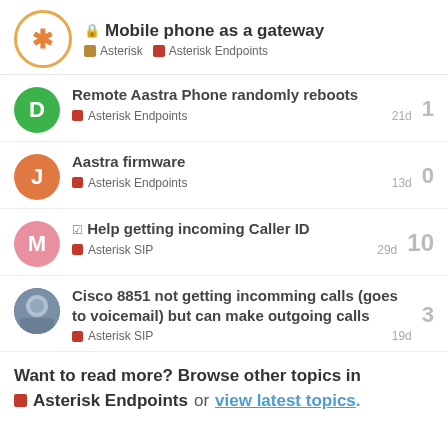Mobile phone as a gateway | Asterisk | Asterisk Endpoints
Remote Aastra Phone randomly reboots | Asterisk Endpoints | 21d | replies: 1
Aastra firmware | Asterisk Endpoints | 13d | replies: 0
Help getting incoming Caller ID | Asterisk SIP | 29d | replies: 10
Cisco 8851 not getting incomming calls (goes to voicemail) but can make outgoing calls | Asterisk SIP | 19d | replies: 3
Want to read more? Browse other topics in Asterisk Endpoints or view latest topics.